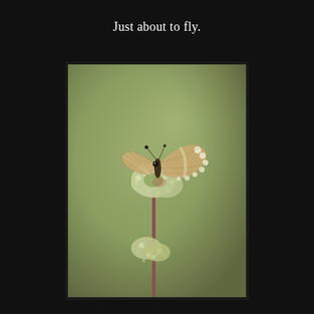Just about to fly.
[Figure (photo): Close-up nature photograph of a small butterfly with brown and white patterned wings spread open, perched on top of a white wildflower cluster atop a reddish-brown stem. A second smaller flower cluster is visible lower on the stem. The background is a soft olive-green bokeh.]